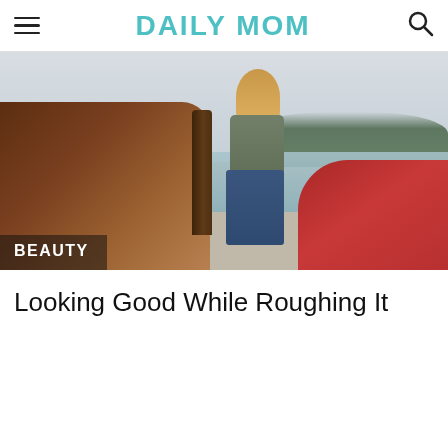DAILY MOM
[Figure (photo): A woman sitting outdoors near canoes by a lake dock, with wooden boats and a red canoe visible. Category label 'BEAUTY' overlaid at bottom left.]
Looking Good While Roughing It